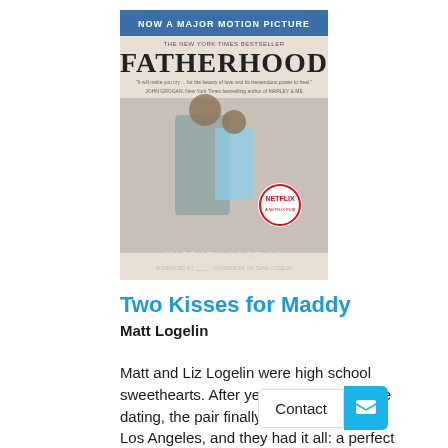[Figure (illustration): Book cover of 'Fatherhood' by Matthew Logelin. Shows 'NOW A MAJOR MOTION PICTURE' banner at top in blue. The New York Times Bestseller label. Title 'FATHERHOOD' in large letters. A man and a young girl back to back. Netflix badge. Author name 'MATTHEW LOGELIN' at bottom.]
Two Kisses for Maddy
Matt Logelin
Matt and Liz Logelin were high school sweethearts. After years of long-distance dating, the pair finally settled together in Los Angeles, and they had it all: a perfect marriage, a gorgeous new ho... baby girl on the way. Liz's pre... s